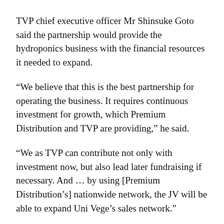TVP chief executive officer Mr Shinsuke Goto said the partnership would provide the hydroponics business with the financial resources it needed to expand.
“We believe that this is the best partnership for operating the business. It requires continuous investment for growth, which Premium Distribution and TVP are providing,” he said.
“We as TVP can contribute not only with investment now, but also lead later fundraising if necessary. And … by using [Premium Distribution’s] nationwide network, the JV will be able to expand Uni Vege’s sales network.”